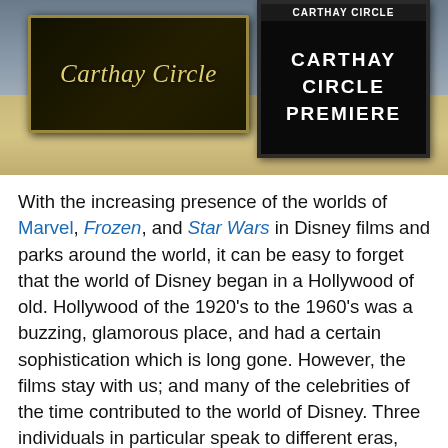[Figure (photo): Photo of Carthay Circle theatre marquee signs at Disney California Adventure. Left sign reads 'Carthay Circle' in script, right sign reads 'CARTHAY CIRCLE PREMIERE' on a black marquee board. The building facade shows ornate architectural details.]
With the increasing presence of the worlds of Marvel, Frozen, and Star Wars in Disney films and parks around the world, it can be easy to forget that the world of Disney began in a Hollywood of old. Hollywood of the 1920's to the 1960's was a buzzing, glamorous place, and had a certain sophistication which is long gone. However, the films stay with us; and many of the celebrities of the time contributed to the world of Disney. Three individuals in particular speak to different eras, styles, and genres, but were able to lend some of their talents at various stages in their careers. Those who love the world of Disney often share a love for Old Hollywood. Some imaginings of this era are present in Disney parks, such as in Walt Disney World's Hollywood Studios, and the Carthay Circle Restaurant in Disney's California Adventure. This fusion of the world of Disney and Old Hollywood are due in part to these, and many other individuals, dipping their toes